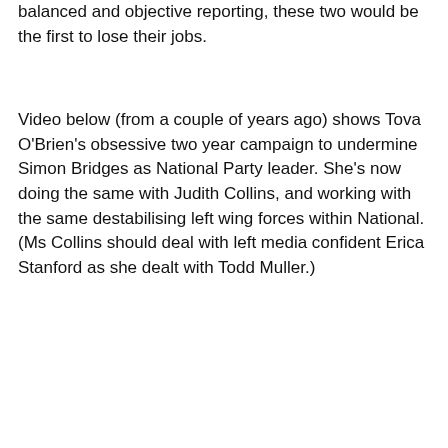balanced and objective reporting, these two would be the first to lose their jobs.
Video below (from a couple of years ago) shows Tova O'Brien's obsessive two year campaign to undermine Simon Bridges as National Party leader. She's now doing the same with Judith Collins, and working with the same destabilising left wing forces within National. (Ms Collins should deal with left media confident Erica Stanford as she dealt with Todd Muller.)